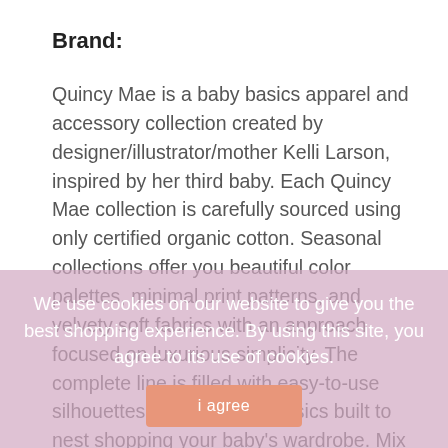Brand:
Quincy Mae is a baby basics apparel and accessory collection created by designer/illustrator/mother Kelli Larson, inspired by her third baby. Each Quincy Mae collection is carefully sourced using only certified organic cotton. Seasonal collections offer you beautiful color palettes, minimal print patterns, and velvety soft fabrics with an approach focused on luxurious simplicity. The complete line is filled with easy-to-use silhouettes and everyday basics built to nest shopping your baby's wardrobe. Mix and match colors across different pieces to getting each garment on and off. The minimalist approach to art and design combined with soft wearable colors will always be the staple design
We use cookies on our website to give you the best shopping experience. By using this site, you agree to its use of cookies.